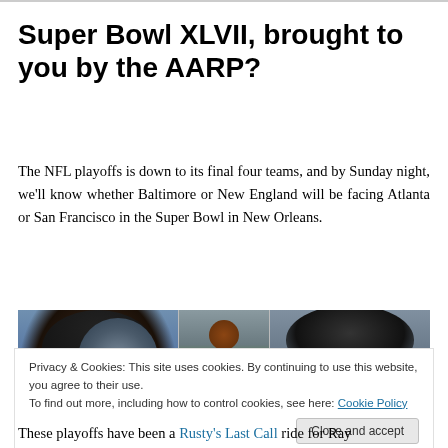Super Bowl XLVII, brought to you by the AARP?
The NFL playoffs is down to its final four teams, and by Sunday night, we'll know whether Baltimore or New England will be facing Atlanta or San Francisco in the Super Bowl in New Orleans.
[Figure (photo): Three-panel image: left panel shows a person wearing a black beanie, middle panel shows a football near a goalpost, right panel shows a person with voluminous hair.]
Privacy & Cookies: This site uses cookies. By continuing to use this website, you agree to their use.
To find out more, including how to control cookies, see here: Cookie Policy
These playoffs have been a Rusty's Last Call ride for Ray